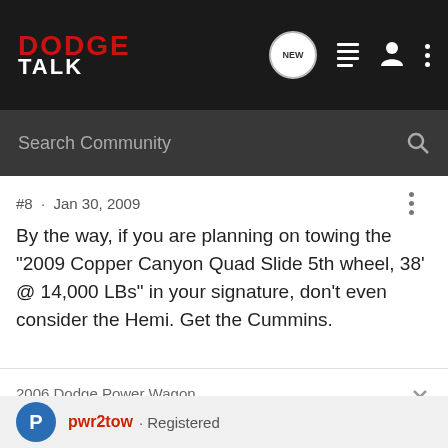DODGE TALK
#8 · Jan 30, 2009
By the way, if you are planning on towing the "2009 Copper Canyon Quad Slide 5th wheel, 38' @ 14,000 LBs" in your signature, don't even consider the Hemi. Get the Cummins.
2006 Dodge Power Wagon
2001 Dodge Durango SLT Plus 5.9L 3.92
pwr2tow · Registered